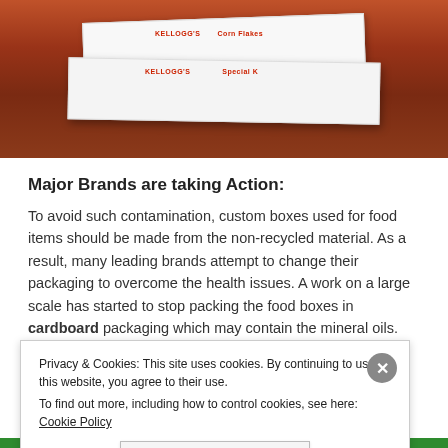[Figure (photo): Photo of white food/product boxes stacked on a reddish-brown wooden surface, viewed from above at an angle.]
Major Brands are taking Action:
To avoid such contamination, custom boxes used for food items should be made from the non-recycled material. As a result, many leading brands attempt to change their packaging to overcome the health issues. A work on a large scale has started to stop packing the food boxes in cardboard packaging which may contain the mineral oils. Popular brands like Kellogg's are working with its wholesale
Privacy & Cookies: This site uses cookies. By continuing to use this website, you agree to their use.
To find out more, including how to control cookies, see here: Cookie Policy
Close and accept